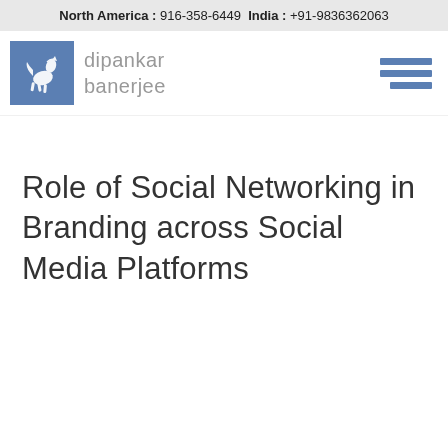North America : 916-358-6449  India : +91-9836362063
[Figure (logo): Dipankar Banerjee logo with blue square containing a white heraldic horse/pegasus figure, and the text 'dipankar banerjee' in light grey beside it. A hamburger menu icon in blue appears on the right.]
Role of Social Networking in Branding across Social Media Platforms